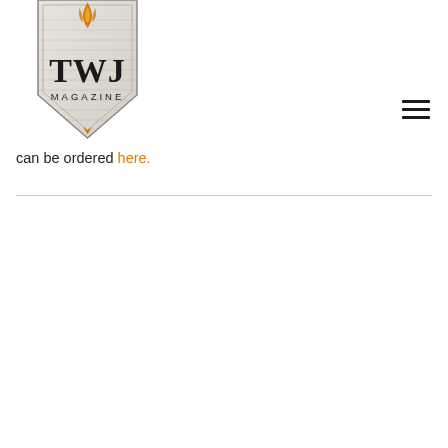[Figure (logo): TWJ Magazine logo: a shield/banner shape with flame motif at top, text 'TWJ' in large serif letters and 'MAGAZINE' below in smaller caps, gold/tan color scheme with dark border]
can be ordered here.